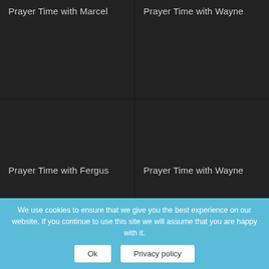Prayer Time with Marcel
Prayer Time with Wayne
Prayer Time with Fergus
Prayer Time with Wayne
We use cookies to ensure that we give you the best experience on our website. If you continue to use this site we will assume that you are happy with it.
Ok
Privacy policy